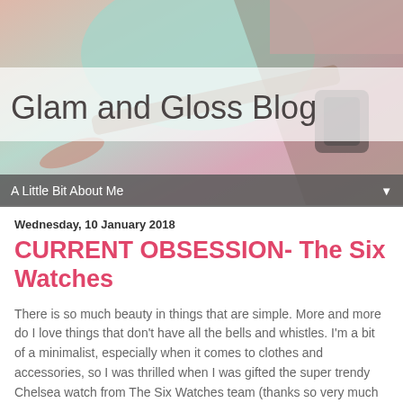[Figure (photo): Blog header image showing cosmetic accessories including sunglasses and makeup items with colorful background in pink, teal, and gold tones]
Glam and Gloss Blog
A Little Bit About Me ▼
Wednesday, 10 January 2018
CURRENT OBSESSION- The Six Watches
There is so much beauty in things that are simple. More and more do I love things that don't have all the bells and whistles. I'm a bit of a minimalist, especially when it comes to clothes and accessories, so I was thrilled when I was gifted the super trendy Chelsea watch from The Six Watches team (thanks so very much for the love!) I love repping my city and the SIX logo is perfectly placed so I will always be reminded of home no matter where I am.
This watch features gold accents and a grey leather strap. I